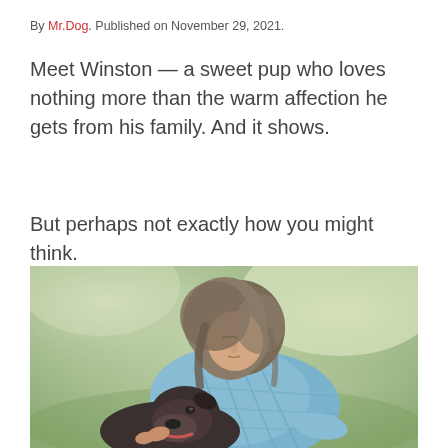By Mr.Dog. Published on November 29, 2021.
Meet Winston — a sweet pup who loves nothing more than the warm affection he gets from his family. And it shows.
But perhaps not exactly how you might think.
[Figure (photo): A woman with gray-brown hair wearing a light blue plaid shirt, leaning her head down toward a dark-colored dog (pitbull type), set against a soft green blurred outdoor background.]